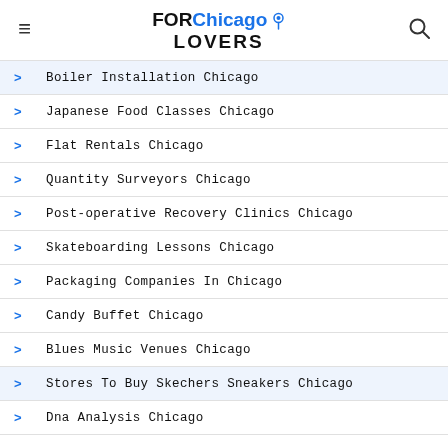FOR Chicago LOVERS
Boiler Installation Chicago
Japanese Food Classes Chicago
Flat Rentals Chicago
Quantity Surveyors Chicago
Post-operative Recovery Clinics Chicago
Skateboarding Lessons Chicago
Packaging Companies In Chicago
Candy Buffet Chicago
Blues Music Venues Chicago
Stores To Buy Skechers Sneakers Chicago
Dna Analysis Chicago